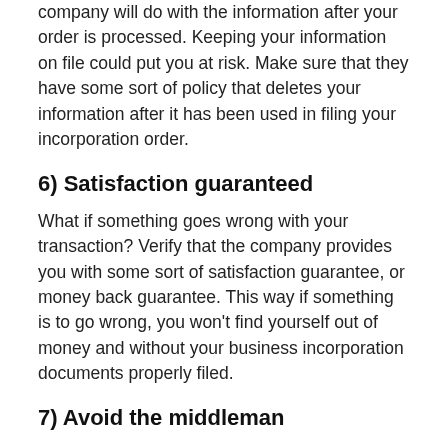company will do with the information after your order is processed. Keeping your information on file could put you at risk. Make sure that they have some sort of policy that deletes your information after it has been used in filing your incorporation order.
6) Satisfaction guaranteed
What if something goes wrong with your transaction? Verify that the company provides you with some sort of satisfaction guarantee, or money back guarantee. This way if something is to go wrong, you won't find yourself out of money and without your business incorporation documents properly filed.
7) Avoid the middleman
Be sure to do business with companies that deal directly with the state where you are going to incorporate your business and not through other